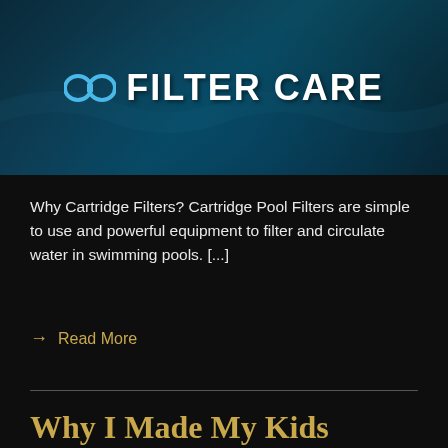[Figure (illustration): Dark teal/navy banner with a white infinity-loop-style goggles icon on the left and bold white text reading FILTER CARE on the right, over a water-texture background.]
Why Cartridge Filters? Cartridge Pool Filters are simple to use and powerful equipment to filter and circulate water in swimming pools. [...]
→ Read More
Why I Made My Kids